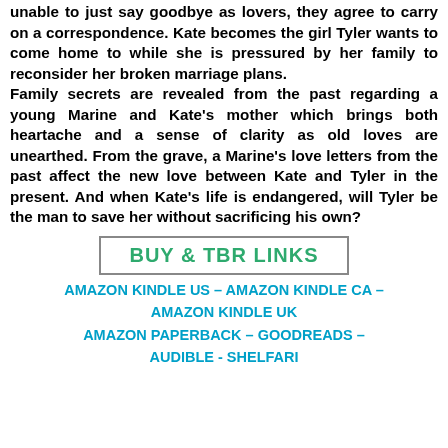unable to just say goodbye as lovers, they agree to carry on a correspondence. Kate becomes the girl Tyler wants to come home to while she is pressured by her family to reconsider her broken marriage plans. Family secrets are revealed from the past regarding a young Marine and Kate's mother which brings both heartache and a sense of clarity as old loves are unearthed. From the grave, a Marine's love letters from the past affect the new love between Kate and Tyler in the present. And when Kate's life is endangered, will Tyler be the man to save her without sacrificing his own?
[Figure (other): Button/link graphic with text BUY & TBR LINKS in bold green/teal font inside a bordered rectangle]
AMAZON KINDLE US – AMAZON KINDLE CA – AMAZON KINDLE UK AMAZON PAPERBACK – GOODREADS – AUDIBLE - SHELFARI